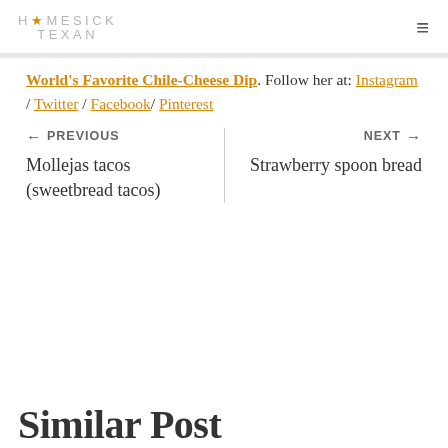HOMESICK TEXAN
World's Favorite Chile-Cheese Dip. Follow her at: Instagram / Twitter / Facebook/ Pinterest
← PREVIOUS
Mollejas tacos (sweetbread tacos)
NEXT →
Strawberry spoon bread
Similar Posts